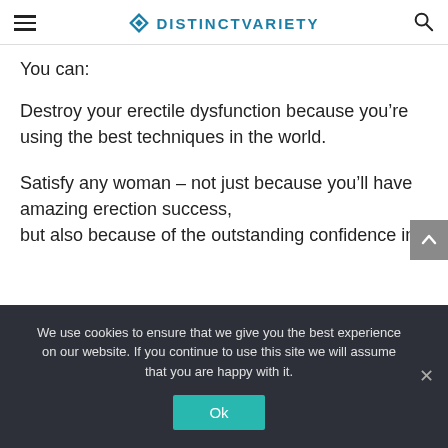DISTINCTVARIETY
You can:
Destroy your erectile dysfunction because you’re using the best techniques in the world.
Satisfy any woman – not just because you’ll have amazing erection success, but also because of the outstanding confidence in
We use cookies to ensure that we give you the best experience on our website. If you continue to use this site we will assume that you are happy with it.